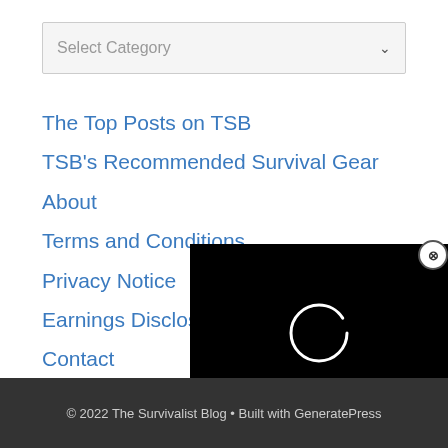Select Category
The Top Posts on TSB
TSB's Recommended Survival Gear
About
Terms and Conditions
Privacy Notice
Earnings Disclosure
Contact
[Figure (screenshot): Video player loading screen with black background and white circular loading spinner, with a close (X) button in the top-right corner]
© 2022 The Survivalist Blog • Built with GeneratePress